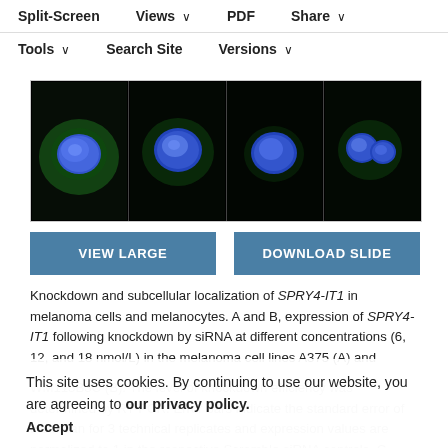Split-Screen | Views | PDF | Share | Tools | Search Site | Versions
[Figure (photo): Four fluorescence microscopy images of cells showing blue-stained nuclei (DAPI) and green cytoplasmic staining on black background, arranged in a 1x4 horizontal panel]
VIEW LARGE | DOWNLOAD SLIDE
Knockdown and subcellular localization of SPRY4-IT1 in melanoma cells and melanocytes. A and B, expression of SPRY4-IT1 following knockdown by siRNA at different concentrations (6, 12, and 18 nmol/L) in the melanoma cell lines A375 (A) and WM115B3C (B). The level of knockdown efficiency was determined by RT-PCR. Error bars indicate the standard error of the mean for 3 technical replicates and expression values are normalized to 1 in the respective Scramble siRNA controls. C, validation of siRNA
This site uses cookies. By continuing to use our website, you are agreeing to our privacy policy. Accept